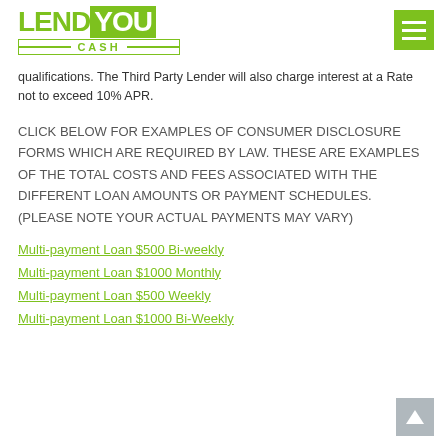LendYou Cash
qualifications. The Third Party Lender will also charge interest at a Rate not to exceed 10% APR.
CLICK BELOW FOR EXAMPLES OF CONSUMER DISCLOSURE FORMS WHICH ARE REQUIRED BY LAW. THESE ARE EXAMPLES OF THE TOTAL COSTS AND FEES ASSOCIATED WITH THE DIFFERENT LOAN AMOUNTS OR PAYMENT SCHEDULES. (PLEASE NOTE YOUR ACTUAL PAYMENTS MAY VARY)
Multi-payment Loan $500 Bi-weekly
Multi-payment Loan $1000 Monthly
Multi-payment Loan $500 Weekly
Multi-payment Loan $1000 Bi-Weekly